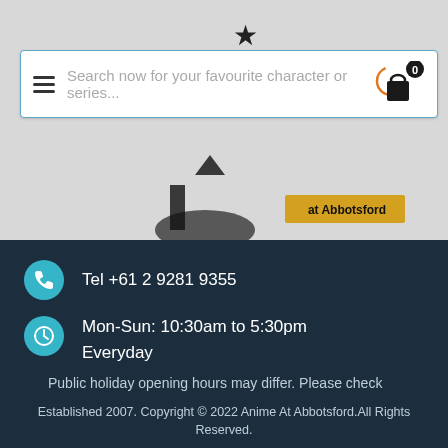[Figure (screenshot): Website header with anime character banner showing pink-haired and dark-haired characters, with 'at Abbotsford' text visible on the banner image]
Search now for your favourite character or series...
Tel +61 2 9281 9355
Mon-Sun: 10:30am to 5:30pm Everyday
Public holiday opening hours may differ. Please check Google or our Facebook page.
Established 2007. Copyright © 2022 Anime At Abbotsford.All Rights Reserved.